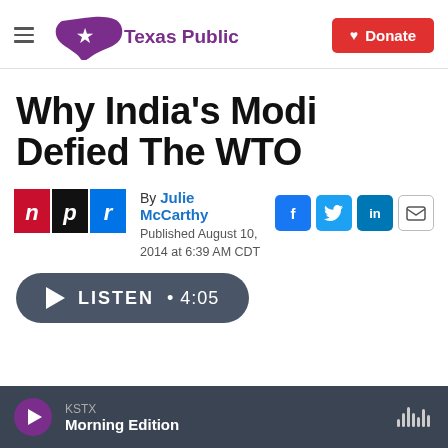Texas Public Radio | Donate
Why India's Modi Defied The WTO
By Julie McCarthy
Published August 10, 2014 at 6:39 AM CDT
[Figure (logo): NPR logo with red, black, and blue tiles showing letters n, p, r]
[Figure (infographic): Social share buttons: Facebook, Twitter, LinkedIn, Email]
[Figure (infographic): Listen button with play triangle, text LISTEN, and duration 4:05]
KSTX Morning Edition